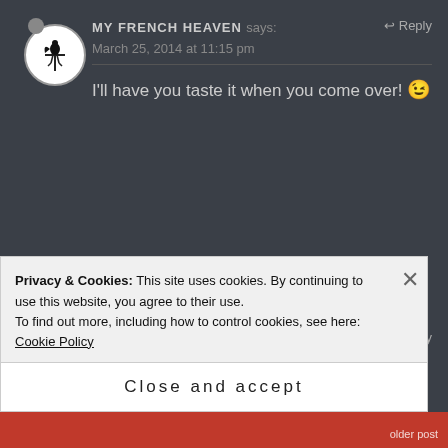MY FRENCH HEAVEN says: Reply
March 25, 2014 at 11:15 pm
I'll have you taste it when you come over! 😉
CONOR BOFIN says: Reply
Privacy & Cookies: This site uses cookies. By continuing to use this website, you agree to their use.
To find out more, including how to control cookies, see here: Cookie Policy
Close and accept